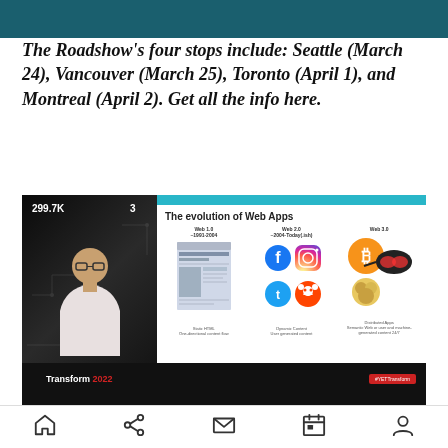The Roadshow's four stops include: Seattle (March 24), Vancouver (March 25), Toronto (April 1), and Montreal (April 2). Get all the info here.
[Figure (screenshot): Video screenshot of a presentation titled 'The evolution of Web Apps' showing Web 1.0, Web 2.0, and Web 3.0 with social media icons. Presenter visible in bottom-left. View count 299.7K, like count 3. Transform 2022 branding and #YETTransform hashtag visible.]
Summit Cloud in a Web 3.0 World How Edge